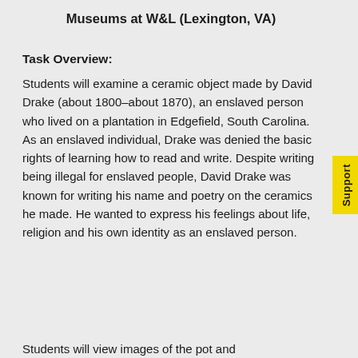Museums at W&L (Lexington, VA)
Task Overview:
Students will examine a ceramic object made by David Drake (about 1800–about 1870), an enslaved person who lived on a plantation in Edgefield, South Carolina. As an enslaved individual, Drake was denied the basic rights of learning how to read and write. Despite writing being illegal for enslaved people, David Drake was known for writing his name and poetry on the ceramics he made. He wanted to express his feelings about life, religion and his own identity as an enslaved person.
Students will view images of the pot and